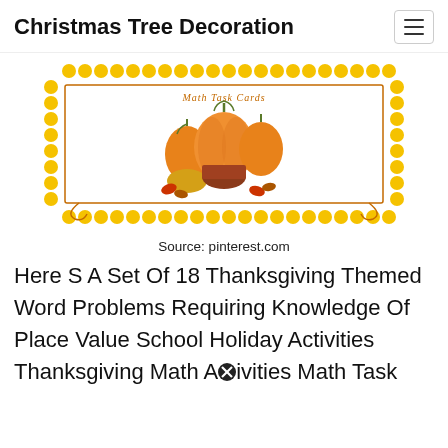Christmas Tree Decoration
[Figure (illustration): Thanksgiving-themed math task cards illustration with pumpkins, autumn harvest decorations inside a decorative yellow beaded border and orange scroll border frame. Text at top reads 'Math Task Cards'.]
Source: pinterest.com
Here S A Set Of 18 Thanksgiving Themed Word Problems Requiring Knowledge Of Place Value School Holiday Activities Thanksgiving Math Activities Math Task